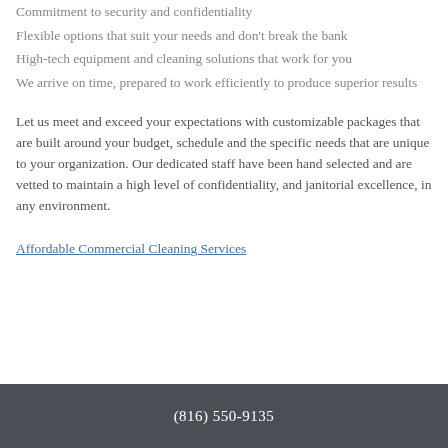Commitment to security and confidentiality
Flexible options that suit your needs and don't break the bank
High-tech equipment and cleaning solutions that work for you
We arrive on time, prepared to work efficiently to produce superior results
Let us meet and exceed your expectations with customizable packages that are built around your budget, schedule and the specific needs that are unique to your organization. Our dedicated staff have been hand selected and are vetted to maintain a high level of confidentiality, and janitorial excellence, in any environment.
Affordable Commercial Cleaning Services
(816) 550-9135